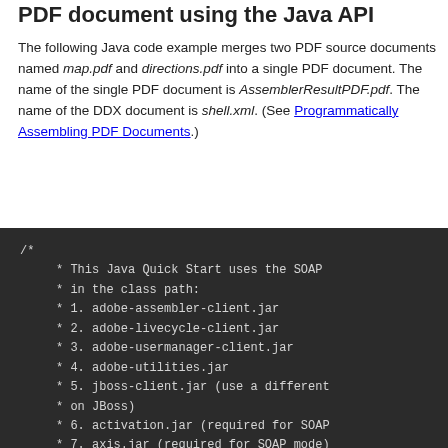PDF document using the Java API
The following Java code example merges two PDF source documents named map.pdf and directions.pdf into a single PDF document. The name of the single PDF document is AssemblerResultPDF.pdf. The name of the DDX document is shell.xml. (See Programmatically Assembling PDF Documents.)
/* 
     * This Java Quick Start uses the SOAP 
     * in the class path:
     * 1. adobe-assembler-client.jar
     * 2. adobe-livecycle-client.jar
     * 3. adobe-usermanager-client.jar
     * 4. adobe-utilities.jar
     * 5. jboss-client.jar (use a different
     * on JBoss)
     * 6. activation.jar (required for SOAP
     * 7. axis.jar (required for SOAP mode)